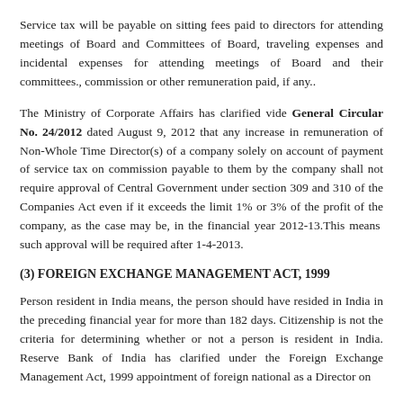Service tax will be payable on sitting fees paid to directors for attending meetings of Board and Committees of Board, traveling expenses and incidental expenses for attending meetings of Board and their committees., commission or other remuneration paid, if any..
The Ministry of Corporate Affairs has clarified vide General Circular No. 24/2012 dated August 9, 2012 that any increase in remuneration of Non-Whole Time Director(s) of a company solely on account of payment of service tax on commission payable to them by the company shall not require approval of Central Government under section 309 and 310 of the Companies Act even if it exceeds the limit 1% or 3% of the profit of the company, as the case may be, in the financial year 2012-13.This means such approval will be required after 1-4-2013.
(3) FOREIGN EXCHANGE MANAGEMENT ACT, 1999
Person resident in India means, the person should have resided in India in the preceding financial year for more than 182 days. Citizenship is not the criteria for determining whether or not a person is resident in India. Reserve Bank of India has clarified under the Foreign Exchange Management Act, 1999 appointment of foreign national as a Director on